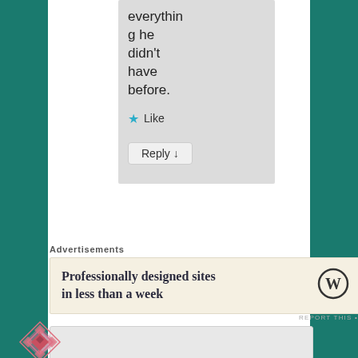everything he didn't have before.
★ Like
Reply ↓
Advertisements
Professionally designed sites in less than a week
REPORT THIS
[Figure (logo): WordPress circular logo]